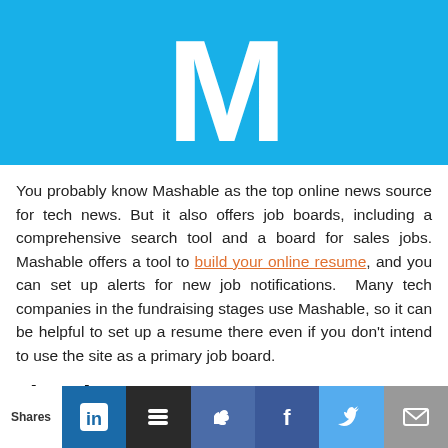[Figure (logo): Mashable logo — white letter M on bright blue background]
You probably know Mashable as the top online news source for tech news. But it also offers job boards, including a comprehensive search tool and a board for sales jobs. Mashable offers a tool to build your online resume, and you can set up alerts for new job notifications. Many tech companies in the fundraising stages use Mashable, so it can be helpful to set up a resume there even if you don't intend to use the site as a primary job board.
9) SalesTrex
Shares | LinkedIn | Buffer | Like | Facebook | Twitter | Email